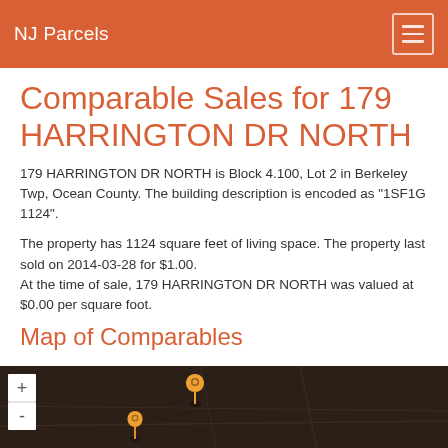NJ Parcels
Comparable Sales for 179 HARRINGTON DR NORTH
179 HARRINGTON DR NORTH is Block 4.100, Lot 2 in Berkeley Twp, Ocean County. The building description is encoded as "1SF1G 1124".
The property has 1124 square feet of living space. The property last sold on 2014-03-28 for $1.00.
At the time of sale, 179 HARRINGTON DR NORTH was valued at $0.00 per square foot.
Map of Comparables
[Figure (map): Dark map showing location markers (orange pin icons) for comparable properties. Map has zoom controls (+/-) on the upper left.]